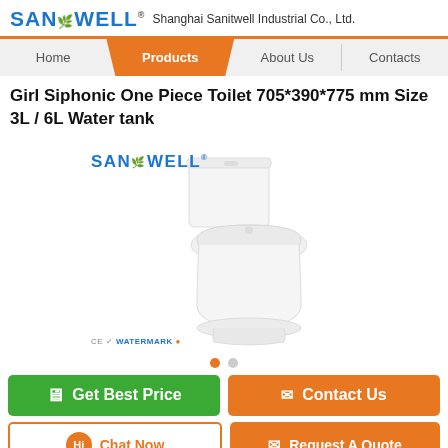SANITWELL® Shanghai Sanitwell Industrial Co., Ltd.
Home | Products | About Us | Contacts
Girl Siphonic One Piece Toilet 705*390*775 mm Size 3L / 6L Water tank
[Figure (photo): White one-piece siphonic toilet with SANITWELL logo watermark, CE and other certification marks at the bottom]
Get Best Price  Contact Us
Chat Now  Request A Quote